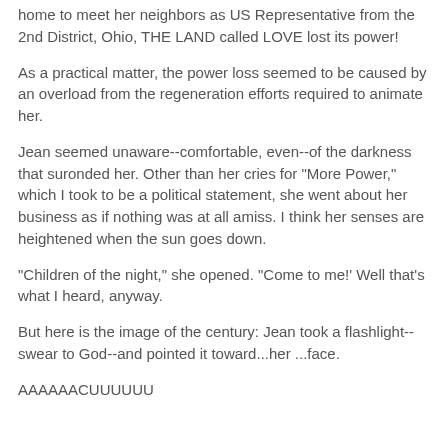home to meet her neighbors as US Representative from the 2nd District, Ohio, THE LAND called LOVE lost its power!
As a practical matter, the power loss seemed to be caused by an overload from the regeneration efforts required to animate her.
Jean seemed unaware--comfortable, even--of the darkness that suronded her. Other than her cries for "More Power," which I took to be a political statement, she went about her business as if nothing was at all amiss. I think her senses are heightened when the sun goes down.
"Children of the night," she opened. "Come to me!' Well that's what I heard, anyway.
But here is the image of the century: Jean took a flashlight--swear to God--and pointed it toward...her ...face.
AAAAAACUUUUUU